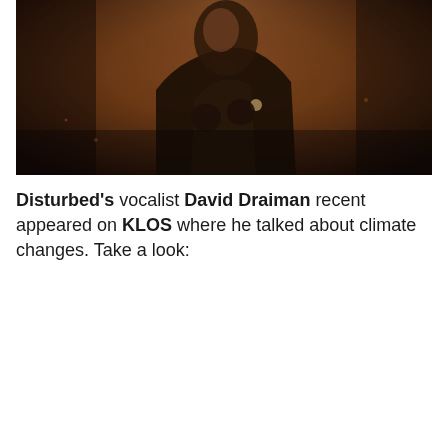[Figure (photo): Dark dramatic photo of a person (vocalist) in a black leather jacket, partially silhouetted against an orange/amber smoky background, with clenched fists raised near their chest.]
Disturbed's vocalist David Draiman recent appeared on KLOS where he talked about climate changes. Take a look: